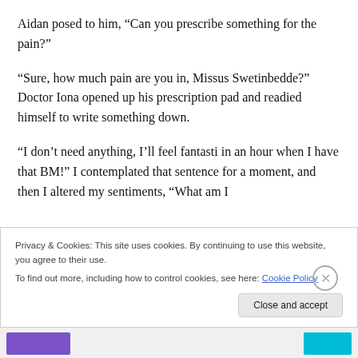Aidan posed to him, “Can you prescribe something for the pain?”
“Sure, how much pain are you in, Missus Swetinbedde?” Doctor Iona opened up his prescription pad and readied himself to write something down.
“I don’t need anything, I’ll feel fantasti in an hour when I have that BM!” I contemplated that sentence for a moment, and then I altered my sentiments, “What am I
Privacy & Cookies: This site uses cookies. By continuing to use this website, you agree to their use.
To find out more, including how to control cookies, see here: Cookie Policy
Close and accept